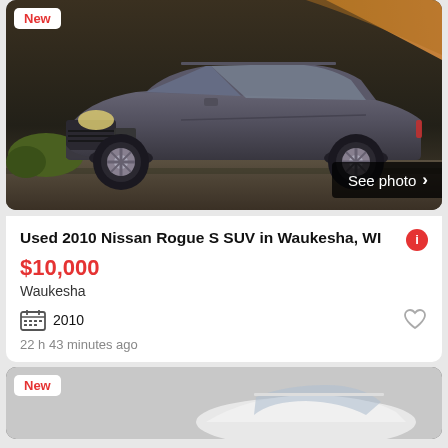[Figure (photo): Gray Nissan Rogue S SUV parked, side/front view, with 'New' badge and 'See photo >' button overlay]
Used 2010 Nissan Rogue S SUV in Waukesha, WI
$10,000
Waukesha
2010
22 h 43 minutes ago
[Figure (photo): Partial view of second car listing with 'New' badge, white vehicle partially visible]